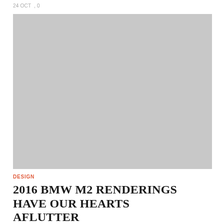24 OCT , 0
[Figure (photo): Large grey placeholder image for 2016 BMW M2 renderings article]
DESIGN
2016 BMW M2 RENDERINGS HAVE OUR HEARTS AFLUTTER